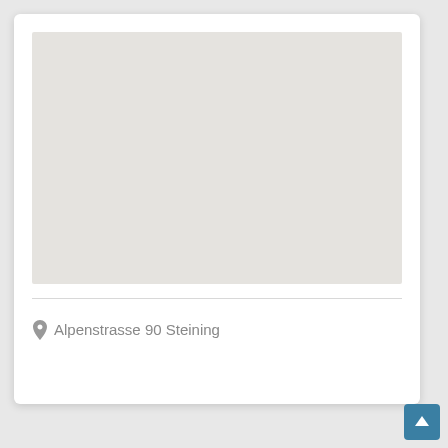[Figure (map): A blank/placeholder map area with light gray background, showing no map tiles loaded.]
Alpenstrasse 90 Steining